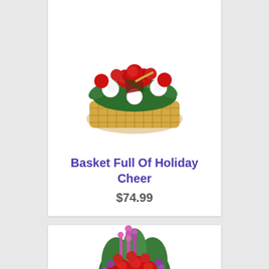[Figure (photo): A wicker basket filled with red roses, white carnations, red carnations, baby's breath, and green foliage, decorated with a plaid ribbon and gold handle.]
Basket Full Of Holiday Cheer
$74.99
[Figure (photo): A tall floral arrangement featuring red roses, pink/purple snapdragons, red carnations, and lush green foliage displayed in a vase or container.]